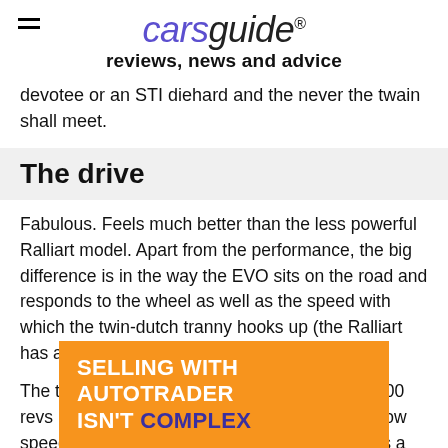carsguide reviews, news and advice
devotee or an STI diehard and the never the twain shall meet.
The drive
Fabulous. Feels much better than the less powerful Ralliart model. Apart from the performance, the big difference is in the way the EVO sits on the road and responds to the wheel as well as the speed with which the twin-dutch tranny hooks up (the Ralliart has a particulary annyoying lag).
The turbocharged engine revs all the way to 7500 revs but it's way too noisy in the cabin even at low speeds. Available as a sedan only, the EVO has a strong road presence with its large rea... ates (and the...
[Figure (other): Orange advertisement banner: SELLING WITH AUTOTRADER ISN'T COMPLEX]